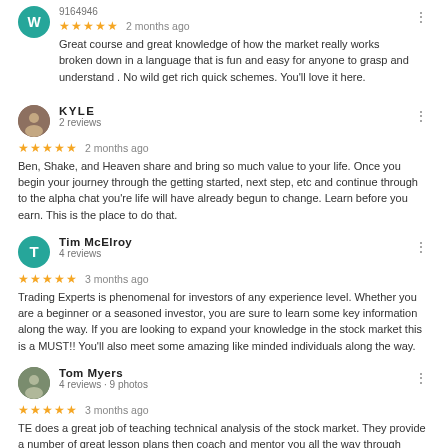Great course and great knowledge of how the market really works broken down in a language that is fun and easy for anyone to grasp and understand . No wild get rich quick schemes. You'll love it here.
KYLE
2 reviews
★★★★★ 2 months ago
Ben, Shake, and Heaven share and bring so much value to your life. Once you begin your journey through the getting started, next step, etc and continue through to the alpha chat you're life will have already begun to change. Learn before you earn. This is the place to do that.
Tim McElroy
4 reviews
★★★★★ 3 months ago
Trading Experts is phenomenal for investors of any experience level. Whether you are a beginner or a seasoned investor, you are sure to learn some key information along the way. If you are looking to expand your knowledge in the stock market this is a MUST!! You'll also meet some amazing like minded individuals along the way.
Tom Myers
4 reviews · 9 photos
★★★★★ 3 months ago
TE does a great job of teaching technical analysis of the stock market. They provide a number of great lesson plans then coach and mentor you all the way through them.  The coaching continues in a group chat format so you really lock in the principles they teach.